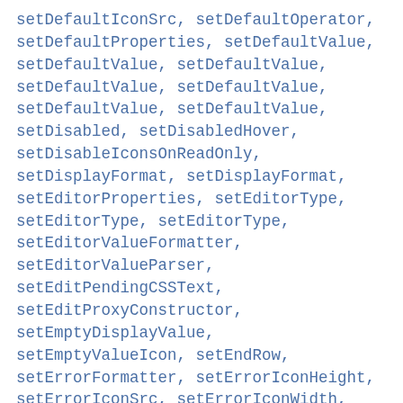setDefaultIconSrc, setDefaultOperator, setDefaultProperties, setDefaultValue, setDefaultValue, setDefaultValue, setDefaultValue, setDefaultValue, setDefaultValue, setDefaultValue, setDefaultValue, setDefaultValue, setDisabled, setDisabledHover, setDisableIconsOnReadOnly, setDisplayFormat, setDisplayFormat, setEditorProperties, setEditorType, setEditorType, setEditorType, setEditorType, setEditorValueFormatter, setEditorValueParser, setEditPendingCSSText, setEditProxyConstructor, setEmptyDisplayValue, setEmptyValueIcon, setEndRow, setErrorFormatter, setErrorIconHeight, setErrorIconSrc, setErrorIconWidth, setErrorMessageWidth, setErrorOrientation, setErrors,